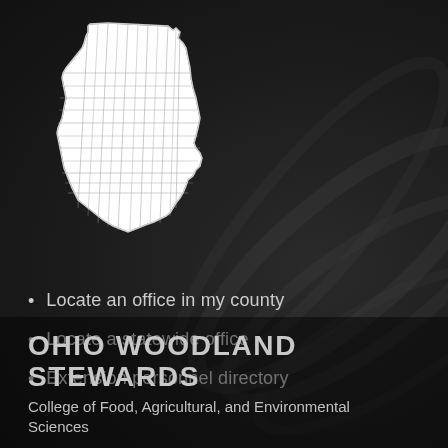[Figure (map): White outline map of Ohio showing county boundaries on dark background]
Locate an office in my county
Locate a statewide office
Extension personnel directory
OHIO WOODLAND STEWARDS
College of Food, Agricultural, and Environmental Sciences